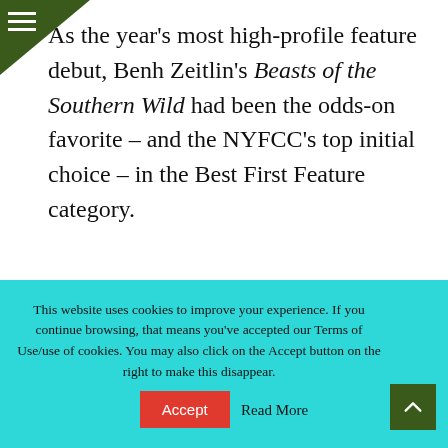As the year's most high-profile feature debut, Benh Zeitlin's Beasts of the Southern Wild had been the odds-on favorite – and the NYFCC's top initial choice – in the Best First Feature category.
[Figure (photo): A woman with gray hair and glasses looking downward, a man with gray hair to her right, and another person partially visible on the left, in an indoor setting.]
This website uses cookies to improve your experience. If you continue browsing, that means you've accepted our Terms of Use/use of cookies. You may also click on the Accept button on the right to make this disappear.